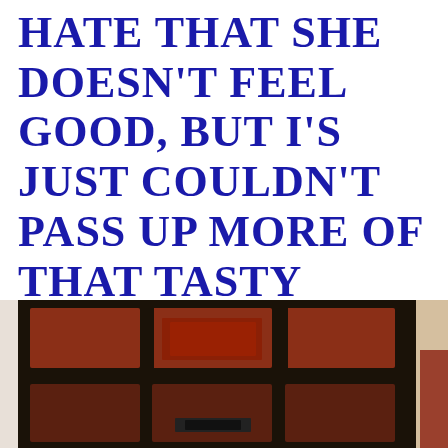HATE THAT SHE DOESN'T FEEL GOOD, BUT I'S JUST COULDN'T PASS UP MORE OF THAT TASTY FANKY FANKSGIVIN' DINNER. I'S SURE HOPE MOMMY GETS BETTER SOON.
[Figure (photo): Photo of a dark wooden cabinet or entertainment center with glass panel doors, reddish-brown panels, and what appears to be electronics inside.]